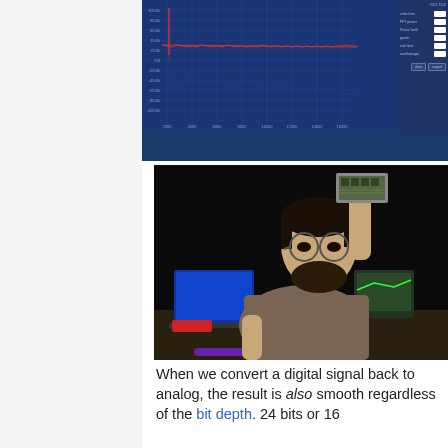[Figure (screenshot): Screenshot of an audio analysis software showing a frequency spectrum graph with two channels displayed. The graph shows a waveform/spectrum on a blue background with a prominent red reference line and dark blue signal trace. On the right side are controls for Channel 1 (8 bit, 16 bit) and Channel 2 (8 bit, 16 bit) buttons at the bottom.]
[Figure (photo): A bearded man wearing glasses and a grey sweater holds up a small circuit board or chip with one hand raised. Behind him are electronic equipment including what appears to be an oscilloscope, a laptop with a blue screen, and various audio/electronic devices on a table. The background is black.]
When we convert a digital signal back to analog, the result is also smooth regardless of the bit depth. 24 bits or 16